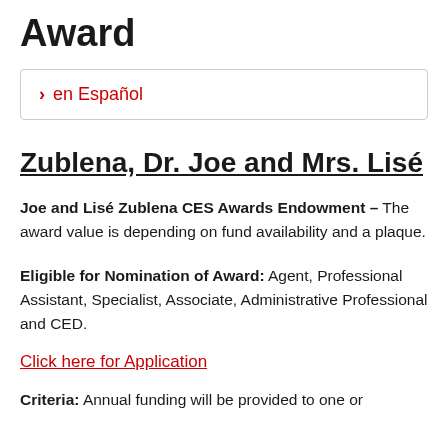Award
> en Español
Zublena, Dr. Joe and Mrs. Lisé
Joe and Lisé Zublena CES Awards Endowment – The award value is depending on fund availability and a plaque.
Eligible for Nomination of Award: Agent, Professional Assistant, Specialist, Associate, Administrative Professional and CED.
Click here for Application
Criteria: Annual funding will be provided to one or